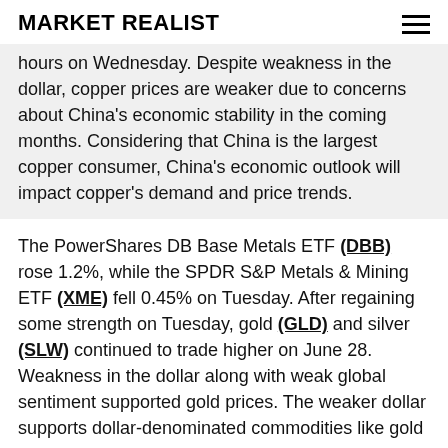MARKET REALIST
hours on Wednesday. Despite weakness in the dollar, copper prices are weaker due to concerns about China's economic stability in the coming months. Considering that China is the largest copper consumer, China's economic outlook will impact copper's demand and price trends.
The PowerShares DB Base Metals ETF (DBB) rose 1.2%, while the SPDR S&P Metals & Mining ETF (XME) fell 0.45% on Tuesday. After regaining some strength on Tuesday, gold (GLD) and silver (SLW) continued to trade higher on June 28. Weakness in the dollar along with weak global sentiment supported gold prices. The weaker dollar supports dollar-denominated commodities like gold